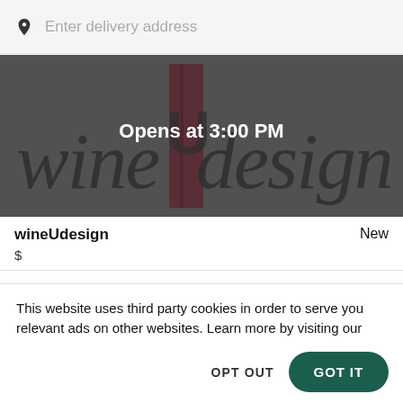[Figure (screenshot): Search bar with location pin icon and placeholder text 'Enter delivery address']
[Figure (screenshot): wineUdesign restaurant banner image with dark grey overlay showing logo text and 'Opens at 3:00 PM' overlay text]
wineUdesign
$
New
This website uses third party cookies in order to serve you relevant ads on other websites. Learn more by visiting our Cookie Statement, or opt out of third party ad cookies using the button below.
OPT OUT
GOT IT